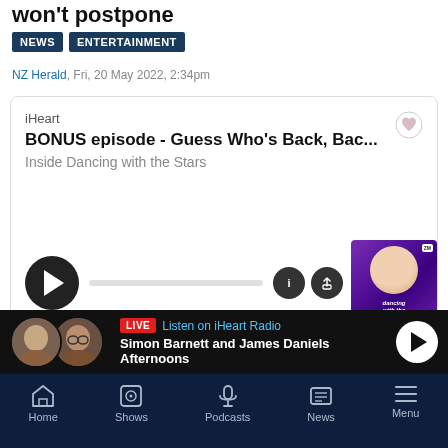won't postpone
NEWS
ENTERTAINMENT
NZ Herald, Fri, 20 May 2022, 2:34pm
[Figure (screenshot): iHeart podcast player card showing BONUS episode - Guess Who's Back, Bac... / Inside Dancing with the Stars, with play button, progress bar, info/share icons, and Dancing with the Stars podcast thumbnail]
[Figure (screenshot): Live radio bar showing two host avatars, LIVE badge, Listen on iHeart Radio label, Simon Barnett and James Daniels Afternoons show name, and play button]
Home  Shows  Podcasts  News  Menu